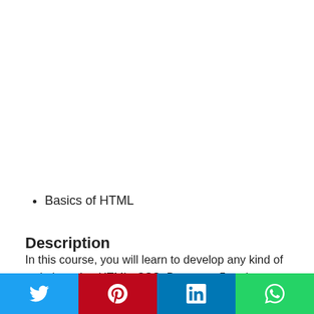Basics of HTML
Description
In this course, you will learn to develop any kind of website using HTML, CSS, Bootstrap 5 and ReactJs.